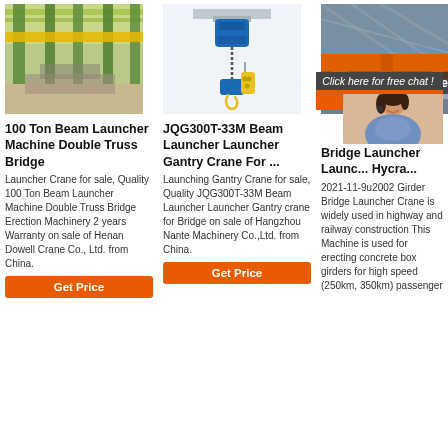[Figure (photo): Industrial beam launcher crane inside a factory building with green pillars and yellow beams]
100 Ton Beam Launcher Machine Double Truss Bridge
Launcher Crane for sale, Quality 100 Ton Beam Launcher Machine Double Truss Bridge Erection Machinery 2 years Warranty on sale of Henan Dowell Crane Co., Ltd. from China.
[Figure (photo): Blue electric chain hoist with yellow hook block]
JQG300T-33M Beam Launcher Launcher Gantry Crane For ...
Launching Gantry Crane for sale, Quality JQG300T-33M Beam Launcher Launcher Gantry crane for Bridge on sale of Hangzhou Nante Machinery Co.,Ltd. from China.
[Figure (photo): Orange overhead bridge crane in a large industrial facility, plus customer service representative overlay with 24/7 Online chat popup]
Bridge Launcher Launcher Gantry Hycra...
2021-11-9u2002 Girder Bridge Launcher Crane is widely used in highway and railway construction This Machine is used for erecting concrete box girders for high speed (250km, 350km) passenger